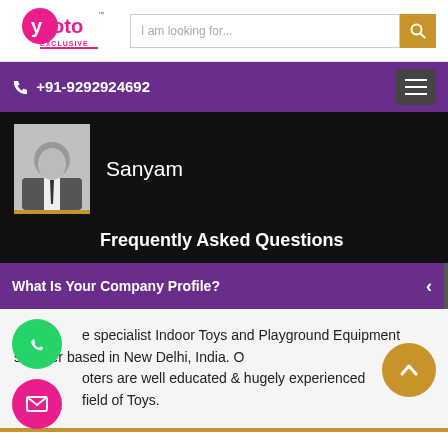[Figure (logo): Yoto Exclusive logo in pink and white with trademark symbol]
I am looking for...
+91-9292924692
[Figure (photo): Generic male silhouette avatar photo]
Sanyam
Frequently Asked Questions
What Is Your Company Profile?
e specialist Indoor Toys and Playground Equipment supplier based in New Delhi, India. O oters are well educated & hugely experienced field of Toys.